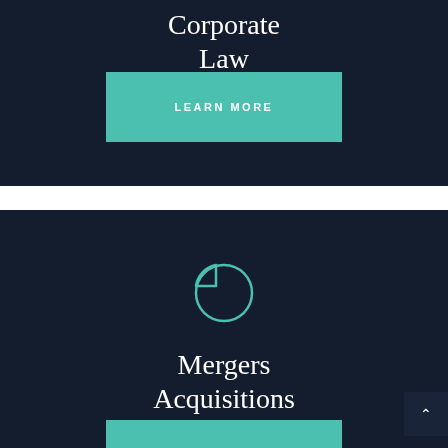Corporate
Law
LEARN MORE
[Figure (illustration): Teal pie chart icon with one quarter slice separated, outline style on dark navy background]
Mergers
Acquisitions
LEARN MORE